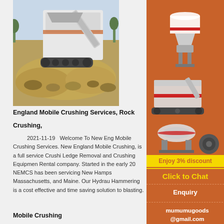[Figure (photo): Mobile rock crushing machine in operation with pile of crushed rock/gravel]
England Mobile Crushing Services, Rock
Crushing,
2021-11-19   Welcome To New England Mobile Crushing Services. New England Mobile Crushing, is a full service Crushing, Ledge Removal and Crushing Equipment Rental company. Started in the early 20... NEMCS has been servicing New Hampshire, Massachusetts, and Maine. Our Hydraulic Hammering is a cost effective and time saving solution to blasting.
[Figure (photo): Advertisement sidebar showing crushing/mining machinery equipment on orange background with 'Enjoy 3% discount' and 'Click to Chat' buttons, Enquiry section, and mumumugoods@gmail.com contact]
More
Get Price
Mobile Crushing